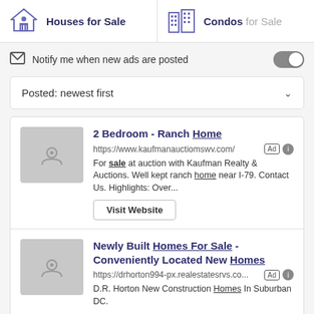Houses for Sale
Condos for Sale
Notify me when new ads are posted
Posted: newest first
2 Bedroom - Ranch Home
https://www.kaufmanauctiomswv.com/
For sale at auction with Kaufman Realty & Auctions. Well kept ranch home near I-79. Contact Us. Highlights: Over...
Visit Website
Newly Built Homes For Sale - Conveniently Located New Homes
https://drhorton994-px.realestatesrvs.co...
D.R. Horton New Construction Homes In Suburban DC.
Explore Communities and Schedule a Tour. D.R. Horton...